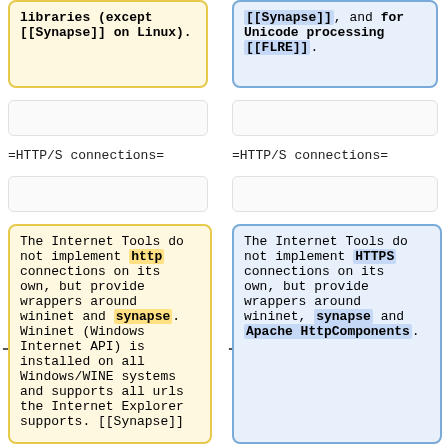libraries (except [[Synapse]] on Linux).
[[Synapse]], and for Unicode processing [[FLRE]].
=HTTP/S connections=
=HTTP/S connections=
The Internet Tools do not implement http connections on its own, but provide wrappers around wininet and synapse. Wininet (Windows Internet API) is installed on all Windows/WINE systems and supports all urls the Internet Explorer supports. [[Synapse]]
The Internet Tools do not implement HTTPS connections on its own, but provide wrappers around wininet, synapse and Apache HttpComponents.